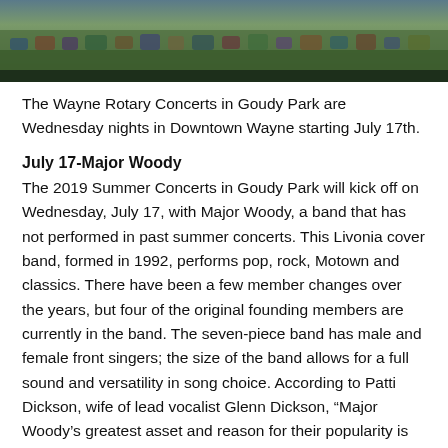[Figure (photo): Outdoor concert crowd scene at what appears to be Goudy Park, with people seated and green scenery in the background.]
The Wayne Rotary Concerts in Goudy Park are Wednesday nights in Downtown Wayne starting July 17th.
July 17-Major Woody
The 2019 Summer Concerts in Goudy Park will kick off on Wednesday, July 17, with Major Woody, a band that has not performed in past summer concerts. This Livonia cover band, formed in 1992, performs pop, rock, Motown and classics. There have been a few member changes over the years, but four of the original founding members are currently in the band. The seven-piece band has male and female front singers; the size of the band allows for a full sound and versatility in song choice. According to Patti Dickson, wife of lead vocalist Glenn Dickson, “Major Woody’s greatest asset and reason for their popularity is their contagious fun and enthusiasm. Guaranteed a good time that people can’t resist joining in. They also limit the amount of venues they perform, thus keeping them fresh and excited for their performances. They will not disappoint!” Join Glenn Dickson (lead vocals), Carrie Shelton (lead vocals), Carl Gerhard (lead guitar), Greg Panaretos (rhythm guitar), Mike Wigand (bass guitar), Tim McPherson (keyboard) and Duran Grisa (drums) as they gather to entertain